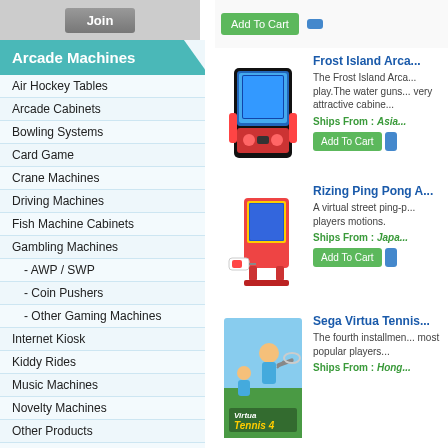[Figure (screenshot): Join button bar at top left]
Arcade Machines (navigation header)
Air Hockey Tables
Arcade Cabinets
Bowling Systems
Card Game
Crane Machines
Driving Machines
Fish Machine Cabinets
Gambling Machines
- AWP / SWP
- Coin Pushers
- Other Gaming Machines
Internet Kiosk
Kiddy Rides
Music Machines
Novelty Machines
Other Products
Photo / Sticker Machines
Pinball Machines
Self Redemption Machines
Shooting Games
Simulators
Sports Games
Frost Island Arca...
The Frost Island Arca... play.The water guns... very attractive cabine...
Ships From : Asia...
Rizing Ping Pong A...
A virtual street ping-p... players motions.
Ships From : Japa...
Sega Virtua Tennis...
The fourth installmen... most popular players...
Ships From : Hong...